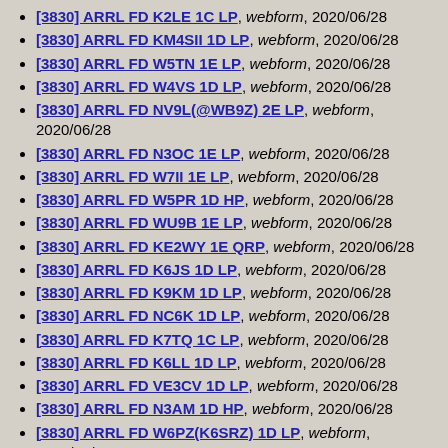[3830] ARRL FD K2LE 1C LP, webform, 2020/06/28
[3830] ARRL FD KM4SII 1D LP, webform, 2020/06/28
[3830] ARRL FD W5TN 1E LP, webform, 2020/06/28
[3830] ARRL FD W4VS 1D LP, webform, 2020/06/28
[3830] ARRL FD NV9L(@WB9Z) 2E LP, webform, 2020/06/28
[3830] ARRL FD N3OC 1E LP, webform, 2020/06/28
[3830] ARRL FD W7II 1E LP, webform, 2020/06/28
[3830] ARRL FD W5PR 1D HP, webform, 2020/06/28
[3830] ARRL FD WU9B 1E LP, webform, 2020/06/28
[3830] ARRL FD KE2WY 1E QRP, webform, 2020/06/28
[3830] ARRL FD K6JS 1D LP, webform, 2020/06/28
[3830] ARRL FD K9KM 1D LP, webform, 2020/06/28
[3830] ARRL FD NC6K 1D LP, webform, 2020/06/28
[3830] ARRL FD K7TQ 1C LP, webform, 2020/06/28
[3830] ARRL FD K6LL 1D LP, webform, 2020/06/28
[3830] ARRL FD VE3CV 1D LP, webform, 2020/06/28
[3830] ARRL FD N3AM 1D HP, webform, 2020/06/28
[3830] ARRL FD W6PZ(K6SRZ) 1D LP, webform, 2020/06/28
[3830] ARRL FD K6WSC 1D LP, webform, 2020/06/28
[3830] ARRL FD WS7L 1B QRP, webform, 2020/06/28
[3830] ARRL FD KU4V 1D LP, webform, 2020/06/28
[3830] ARRL FD K6JS/M 1C LP, webform, 2020/06/28
[3830] ARRL FD W1RH 1D HP, webform, 2020/06/28